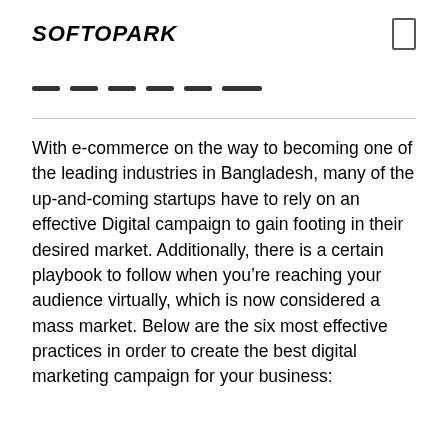SOFTOPARK
With e-commerce on the way to becoming one of the leading industries in Bangladesh, many of the up-and-coming startups have to rely on an effective Digital campaign to gain footing in their desired market. Additionally, there is a certain playbook to follow when you’re reaching your audience virtually, which is now considered a mass market. Below are the six most effective practices in order to create the best digital marketing campaign for your business: